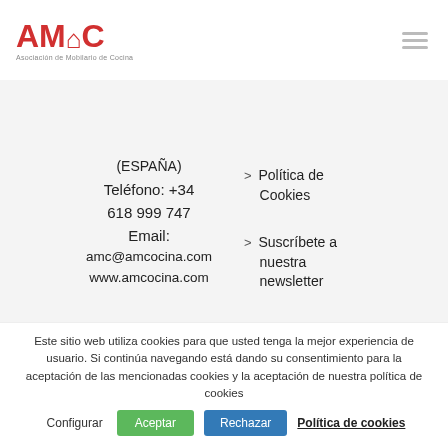[Figure (logo): AMC logo — red letters AMC with house icon, subtitle Asociación de Mobilario de Cocina]
[Figure (other): Hamburger menu icon (three horizontal gray lines)]
(ESPAÑA)
Teléfono: +34 618 999 747
Email:
amc@amcocina.com
www.amcocina.com
> Política de Cookies
> Suscríbete a nuestra newsletter
Este sitio web utiliza cookies para que usted tenga la mejor experiencia de usuario. Si continúa navegando está dando su consentimiento para la aceptación de las mencionadas cookies y la aceptación de nuestra política de cookies
Configurar   Aceptar   Rechazar   Política de cookies